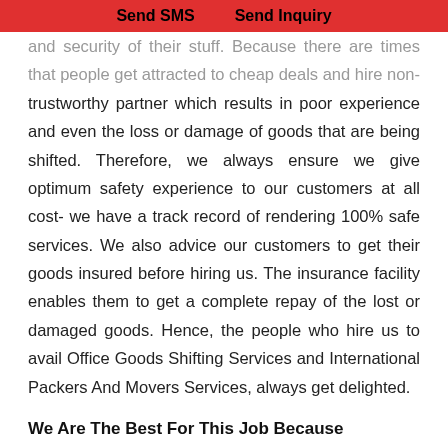Send SMS    Send Inquiry
and security of their stuff. Because there are times that people get attracted to cheap deals and hire non-trustworthy partner which results in poor experience and even the loss or damage of goods that are being shifted. Therefore, we always ensure we give optimum safety experience to our customers at all cost- we have a track record of rendering 100% safe services. We also advice our customers to get their goods insured before hiring us. The insurance facility enables them to get a complete repay of the lost or damaged goods. Hence, the people who hire us to avail Office Goods Shifting Services and International Packers And Movers Services, always get delighted.
We Are The Best For This Job Because